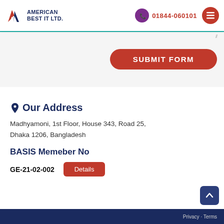American Best IT Ltd. | 01844-060101
[Figure (screenshot): Form textarea with teal underline border and resize handle]
SUBMIT FORM
Our Address
Madhyamoni, 1st Floor, House 343, Road 25, Dhaka 1206, Bangladesh
BASIS Memeber No
GE-21-02-002
Privacy · Terms